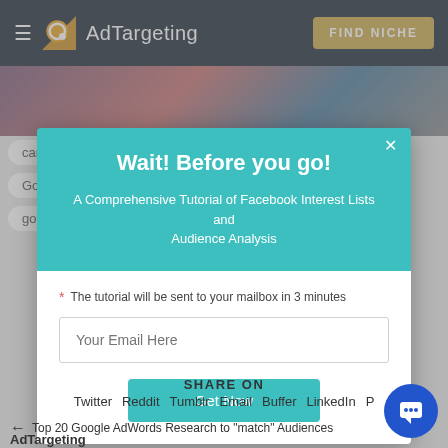AdTargeting | FIND NICHE
[Figure (screenshot): AdTargeting website screenshot with modal popup]
Wait! Before you go!
A Comprehensive Tutorial of Facebook Interest Lists and Audience Analysis
* The tutorial will be sent to your mailbox in 3 minutes
Get Now
SHARE ON
Twitter   Reddit   Tumblr   Email   Buffer   LinkedIn   P
← Top 20 Google AdWords Research to "match" Audiences
AdTargeting